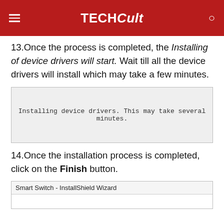TECHCult
13. Once the process is completed, the Installing of device drivers will start. Wait till all the device drivers will install which may take a few minutes.
[Figure (screenshot): Dialog box with text: Installing device drivers. This may take several minutes.]
14. Once the installation process is completed, click on the Finish button.
[Figure (screenshot): Smart Switch - InstallShield Wizard dialog window]